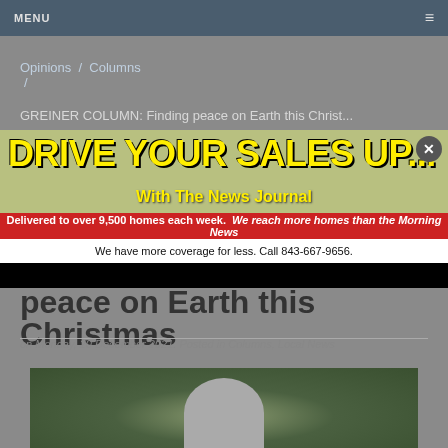MENU
Opinions / Columns /
GREINER COLUMN: Finding peace on Earth this Christ...
[Figure (infographic): Advertisement banner: DRIVE YOUR SALES UP... With The News Journal. Delivered to over 9,500 homes each week. We reach more homes than the Morning News. We have more coverage for less. Call 843-667-9656.]
peace on Earth this Christmas
on Monday, 20 December 2021. Posted in Columns, Local News
[Figure (photo): Photo of a person, partially visible, dark background with foliage]